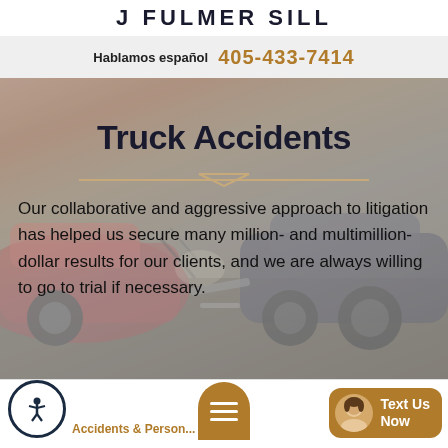J FULMER SILL
Hablamos español  405-433-7414
[Figure (photo): Background photo of a damaged car accident scene with crumpled vehicle]
Truck Accidents
Our collaborative and aggressive approach to litigation has helped us secure many million- and multimillion-dollar results for our clients, and we are always willing to go to trial if necessary.
Accidents & Personal Injury | Menu | Text Us Now